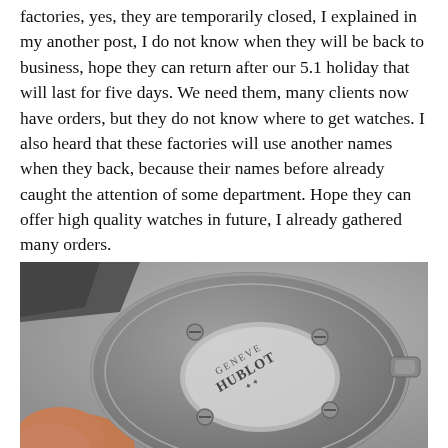factories, yes, they are temporarily closed, I explained in my another post, I do not know when they will be back to business, hope they can return after our 5.1 holiday that will last for five days. We need them, many clients now have orders, but they do not know where to get watches. I also heard that these factories will use another names when they back, because their names before already caught the attention of some department. Hope they can offer high quality watches in future, I already gathered many orders.
[Figure (photo): Close-up photo of a Hublot Geneve watch case back, showing carbon fiber texture, screws, and the Hublot Geneve logo engraved on the case back. A finger is visible at the bottom left holding the watch.]